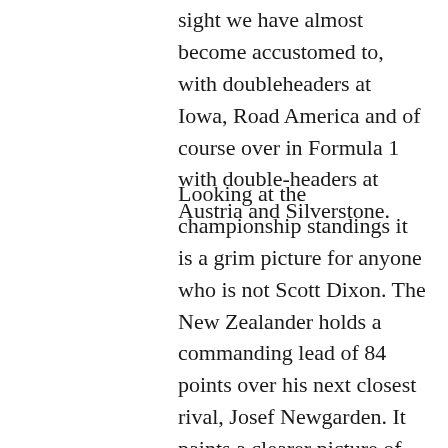sight we have almost become accustomed to, with doubleheaders at Iowa, Road America and of course over in Formula 1 with double-headers at Austria and Silverstone.
Looking at the championship standings it is a grim picture for anyone who is not Scott Dixon. The New Zealander holds a commanding lead of 84 points over his next closest rival, Josef Newgarden. It paints a clearer picture of how dominant the five-time world champion has been this season when noticing third placed Patricio O'Ward is a further 33 points behind Newgarden. Can anyone stop the brilliance of Scott Dixon?